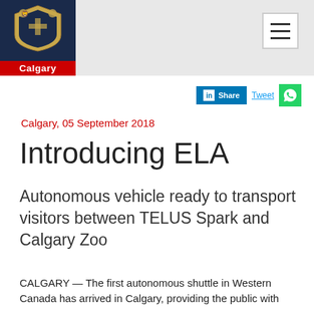City of Calgary
Calgary, 05 September 2018
Introducing ELA
Autonomous vehicle ready to transport visitors between TELUS Spark and Calgary Zoo
CALGARY — The first autonomous shuttle in Western Canada has arrived in Calgary, providing the public with